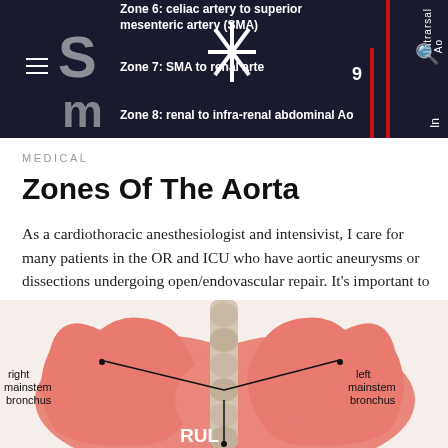Zone 6: celiac artery to superior mesenteric artery (SMA) | Zone 7: SMA to renal artery | Zone 8: renal to infra-renal abdominal Ao
MEDICAL
Zones Of The Aorta
As a cardiothoracic anesthesiologist and intensivist, I care for many patients in the OR and ICU who have aortic aneurysms or dissections undergoing open/endovascular repair. It's important to localize the aortic pathology to determine…
NOVEMBER 22, 2021
[Figure (illustration): Medical illustration of lungs showing right mainstem bronchus and left mainstem bronchus labels with arrows, and RUL (right upper lobe) label visible at the bottom. Watermark text partially visible.]